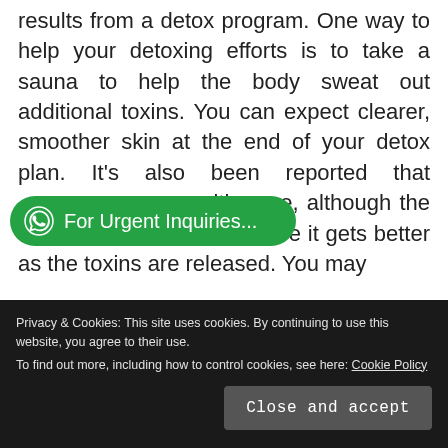results from a detox program. One way to help your detoxing efforts is to take a sauna to help the body sweat out additional toxins. You can expect clearer, smoother skin at the end of your detox plan. It's also been reported that ith acne, although the condition may worsen before it gets better as the toxins are released. You may
[Figure (other): Green WhatsApp button with label 'For Urgent Inquiries...']
Privacy & Cookies: This site uses cookies. By continuing to use this website, you agree to their use.
To find out more, including how to control cookies, see here: Cookie Policy
Close and accept